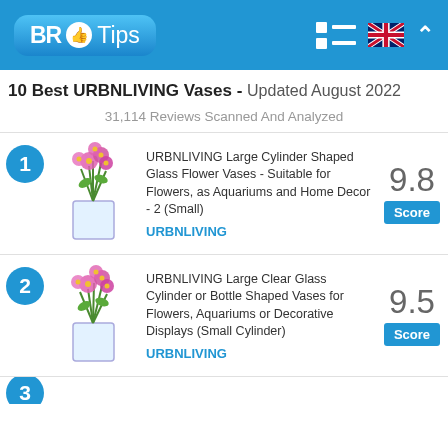BR Tips
10 Best URBNLIVING Vases - Updated August 2022
31,114 Reviews Scanned And Analyzed
1. URBNLIVING Large Cylinder Shaped Glass Flower Vases - Suitable for Flowers, as Aquariums and Home Decor - 2 (Small) URBNLIVING Score: 9.8
2. URBNLIVING Large Clear Glass Cylinder or Bottle Shaped Vases for Flowers, Aquariums or Decorative Displays (Small Cylinder) URBNLIVING Score: 9.5